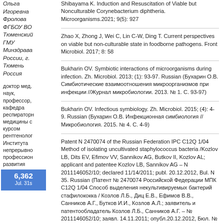Ольга Игоревна Фролова ФГБОУ ВО Тюменский ГМУ Минздрава России, г. Тюмень Россия
доктор мед. наук, профессор, кафедра респираторн медицины с курсом рентгенолог Института непрерывно профессион развития
НОВОСТИ МЕДИЦИНЕ
Shibayama K. Induction and Resuscitation of Viable but Nonculturable Corynebacterium diphtheria. Microorganisms.2021; 9(5): 927
Zhao X, Zhong J, Wei C, Lin C-W, Ding T. Current perspectives on viable but non-culturable state in foodborne pathogens. Front Microbiol. 2017; 8: 58
Bukharin OV. Symbiotic interactions of microorganisms during infection. Zh. Microbiol. 2013; (1): 93-97. Russian (Бухарин О.В. Симбиотические взаимоотношения микроорганизмов при инфекции //Журнал микробиологии. 2013. № 1. С. 93-97)
Bukharin OV. Infectious symbiology. Zh. Microbiol. 2015; (4): 4-9. Russian (Бухарин О.В. Инфекционная симбиология // Микробиология. 2015. № 4. С. 4-9)
Patent N 2470074 of the Russian Federation IPC C12Q 1/04 Method of isolating uncultivated staphylococcus bacteria /Kozlov LB, Dits EV, Efimov VV, Sannikov AG, Butkov II, Kozlov AL; applicant and patentee Kozlov LB, Sannikov AG – N 2011146052/10; declared 11/14/2011; publ. 20.12.2012, Bul. N 35. Russian (Патент № 2470074 Российской Федерации МПК C12Q 1/04 Способ выделения некультивируемых бактерий стафилококка / Козлов Л.Б., Диц Е.В., Ефимов В.В., Санников А.Г., Бутков И.И., Козлов А.Л.; заявитель и патентообладатель Козлов Л.Б., Санников А.Г. – № 2011146052/10; заявл. 14.11.2011; опубл.20.12.2012, Бюл. № 35)
[Figure (other): Blue badge showing number 6,362 and text Jul. 31s]